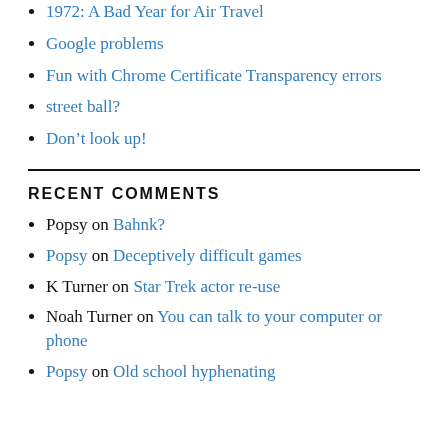1972: A Bad Year for Air Travel
Google problems
Fun with Chrome Certificate Transparency errors
street ball?
Don't look up!
RECENT COMMENTS
Popsy on Bahnk?
Popsy on Deceptively difficult games
K Turner on Star Trek actor re-use
Noah Turner on You can talk to your computer or phone
Popsy on Old school hyphenating